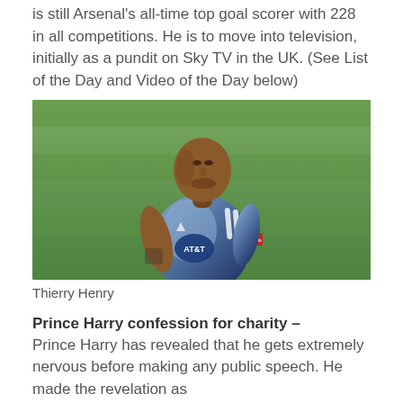is still Arsenal's all-time top goal scorer with 228 in all competitions. He is to move into television, initially as a pundit on Sky TV in the UK. (See List of the Day and Video of the Day below)
[Figure (photo): Thierry Henry in a blue/navy MLS All-Star jersey with AT&T logo and Red Bulls armband, standing on a green pitch]
Thierry Henry
Prince Harry confession for charity –
Prince Harry has revealed that he gets extremely nervous before making any public speech. He made the revelation as